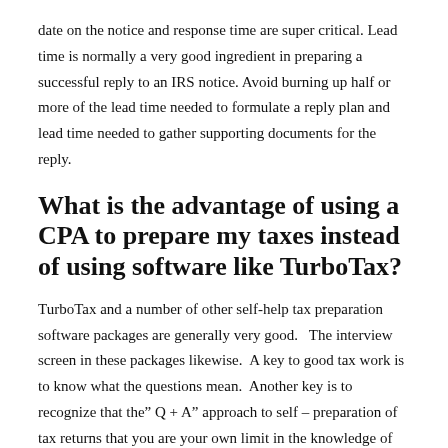date on the notice and response time are super critical. Lead time is normally a very good ingredient in preparing a successful reply to an IRS notice. Avoid burning up half or more of the lead time needed to formulate a reply plan and lead time needed to gather supporting documents for the reply.
What is the advantage of using a CPA to prepare my taxes instead of using software like TurboTax?
TurboTax and a number of other self-help tax preparation software packages are generally very good.   The interview screen in these packages likewise.  A key to good tax work is to know what the questions mean.  Another key is to recognize that the" Q + A" approach to self – preparation of tax returns that you are your own limit in the knowledge of tax law at this “discussion table (with you and the software alone).